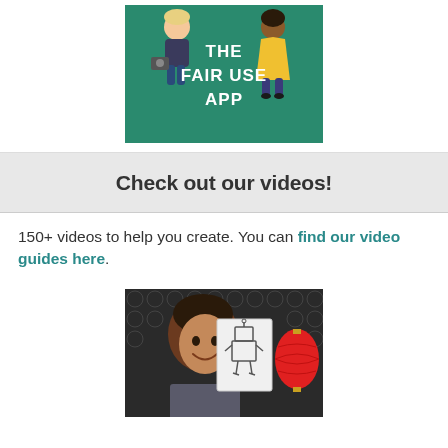[Figure (illustration): The Fair Use App promotional graphic with illustrated characters on a teal/green background. Text reads 'THE FAIR USE APP' in white bold letters. Characters include a person with a camera and a person in a yellow dress.]
Check out our videos!
150+ videos to help you create. You can find our video guides here.
[Figure (photo): Photo of a smiling woman holding up a sketchbook with a drawing of a robot/tin man figure. Red paper lantern visible in background.]